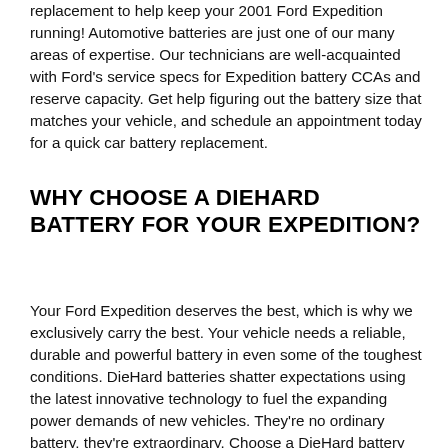replacement to help keep your 2001 Ford Expedition running! Automotive batteries are just one of our many areas of expertise. Our technicians are well-acquainted with Ford's service specs for Expedition battery CCAs and reserve capacity. Get help figuring out the battery size that matches your vehicle, and schedule an appointment today for a quick car battery replacement.
WHY CHOOSE A DIEHARD BATTERY FOR YOUR EXPEDITION?
Your Ford Expedition deserves the best, which is why we exclusively carry the best. Your vehicle needs a reliable, durable and powerful battery in even some of the toughest conditions. DieHard batteries shatter expectations using the latest innovative technology to fuel the expanding power demands of new vehicles. They're no ordinary battery, they're extraordinary. Choose a DieHard battery for your Ford Expedition and have the peace of mind that your battery will